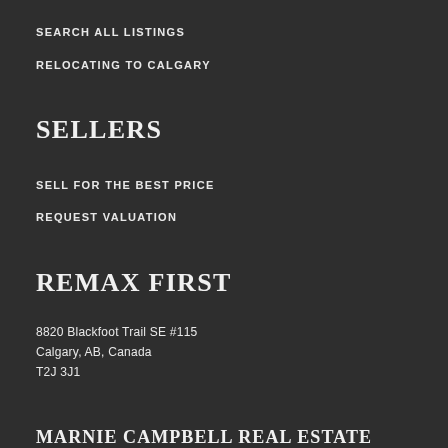SEARCH ALL LISTINGS
RELOCATING TO CALGARY
SELLERS
SELL FOR THE BEST PRICE
REQUEST VALUATION
REMAX FIRST
8820 Blackfoot Trail SE #115
Calgary, AB, Canada
T2J 3J1
MARNIE CAMPBELL REAL ESTATE